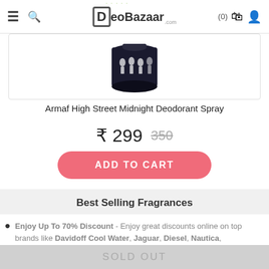DeoBazaar (0)
[Figure (photo): Armaf High Street Midnight Deodorant Spray product image – dark cylindrical can with white graphics on black background]
Armaf High Street Midnight Deodorant Spray
₹ 299  350
ADD TO CART
Best Selling Fragrances
Enjoy Up To 70% Discount - Enjoy great discounts online on top brands like Davidoff Cool Water, Jaguar, Diesel, Nautica,
SOLD OUT